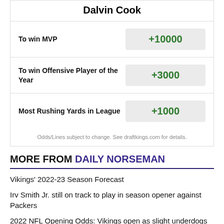Dalvin Cook
| Bet | Odds |
| --- | --- |
| To win MVP | +10000 |
| To win Offensive Player of the Year | +3000 |
| Most Rushing Yards in League | +1000 |
Odds/Lines subject to change. See draftkings.com for details.
MORE FROM DAILY NORSEMAN
Vikings' 2022-23 Season Forecast
Irv Smith Jr. still on track to play in season opener against Packers
2022 NFL Opening Odds: Vikings open as slight underdogs against Packers